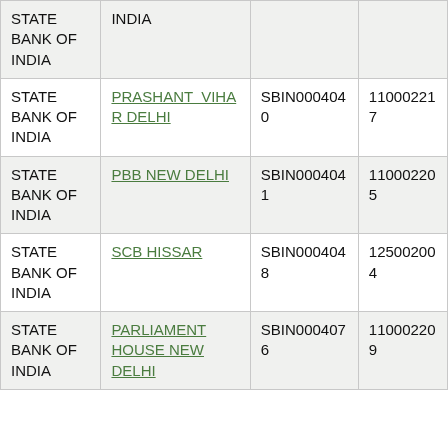| Bank | Branch | IFSC | MICR |
| --- | --- | --- | --- |
| STATE BANK OF INDIA | INDIA |  |  |  |
| STATE BANK OF INDIA | PRASHANT VIHAR DELHI | SBIN0004040 | 110002217 |
| STATE BANK OF INDIA | PBB NEW DELHI | SBIN0004041 | 110002205 |
| STATE BANK OF INDIA | SCB HISSAR | SBIN0004048 | 125002004 |
| STATE BANK OF INDIA | PARLIAMENT HOUSE NEW DELHI | SBIN0004076 | 110002209 |